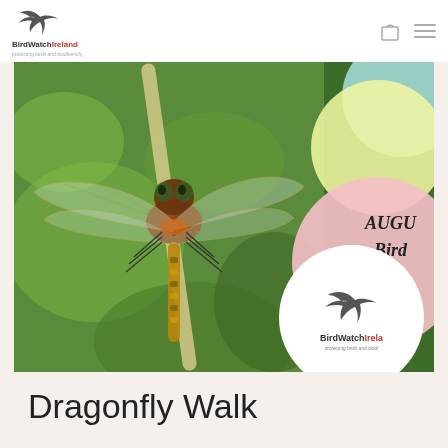[Figure (logo): BirdWatch Ireland logo with flying goose silhouette and text 'BirdWatch Ireland protecting birds and biodiversity' in the navigation bar]
[Figure (photo): Close-up macro photograph of a dragonfly perched on a stem, showing detailed wing venation and body, set against a green bokeh background. Overlaid decorative circles in cyan, yellow, and pink with text 'AUGU Bird Co Ne' (partially cropped) and a BirdWatch Ireland logo in a white circle.]
Dragonfly Walk